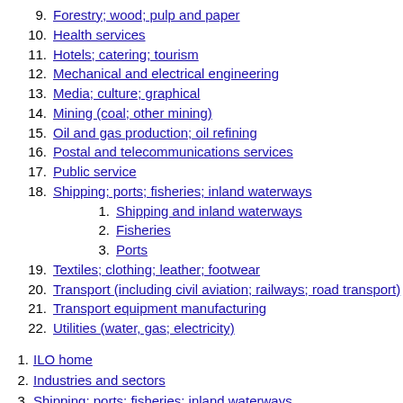9. Forestry; wood; pulp and paper
10. Health services
11. Hotels; catering; tourism
12. Mechanical and electrical engineering
13. Media; culture; graphical
14. Mining (coal; other mining)
15. Oil and gas production; oil refining
16. Postal and telecommunications services
17. Public service
18. Shipping; ports; fisheries; inland waterways
1. Shipping and inland waterways
2. Fisheries
3. Ports
19. Textiles; clothing; leather; footwear
20. Transport (including civil aviation; railways; road transport)
21. Transport equipment manufacturing
22. Utilities (water, gas; electricity)
1. ILO home
2. Industries and sectors
3. Shipping; ports; fisheries; inland waterways
4. Shipping and inland waterways
Shipping and inland waterways